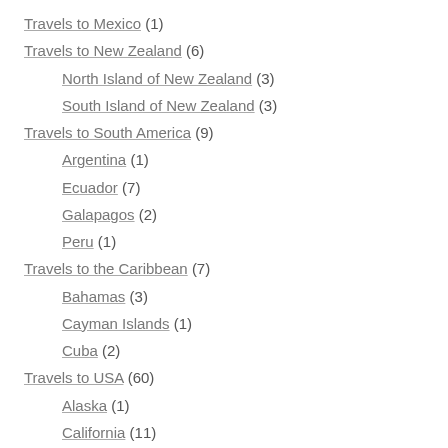Travels to Mexico (1)
Travels to New Zealand (6)
North Island of New Zealand (3)
South Island of New Zealand (3)
Travels to South America (9)
Argentina (1)
Ecuador (7)
Galapagos (2)
Peru (1)
Travels to the Caribbean (7)
Bahamas (3)
Cayman Islands (1)
Cuba (2)
Travels to USA (60)
Alaska (1)
California (11)
Colorado (15)
Florida (4)
Georgia (3)